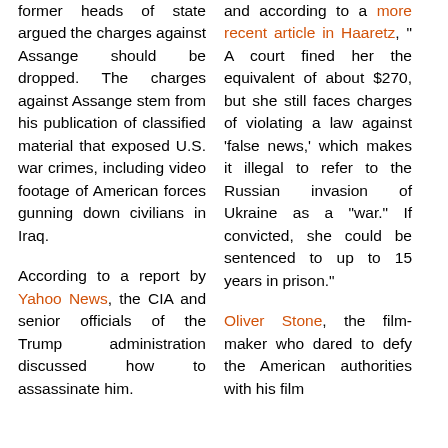former heads of state argued the charges against Assange should be dropped. The charges against Assange stem from his publication of classified material that exposed U.S. war crimes, including video footage of American forces gunning down civilians in Iraq.
According to a report by Yahoo News, the CIA and senior officials of the Trump administration discussed how to assassinate him.
and according to a more recent article in Haaretz, " A court fined her the equivalent of about $270, but she still faces charges of violating a law against 'false news,' which makes it illegal to refer to the Russian invasion of Ukraine as a "war." If convicted, she could be sentenced to up to 15 years in prison."
Oliver Stone, the film-maker who dared to defy the American authorities with his film